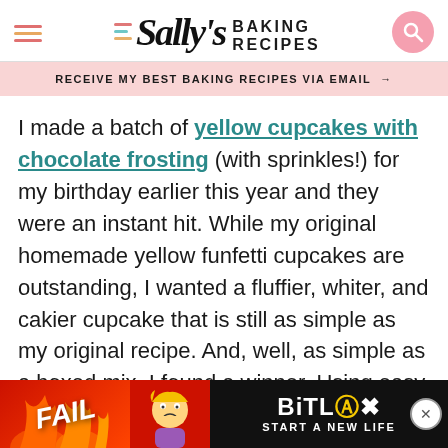Sally's Baking Recipes
RECEIVE MY BEST BAKING RECIPES VIA EMAIL →
I made a batch of yellow cupcakes with chocolate frosting (with sprinkles!) for my birthday earlier this year and they were an instant hit. While my original homemade yellow funfetti cupcakes are outstanding, I wanted a fluffier, whiter, and cakier cupcake that is still as simple as my original recipe. And, well, as simple as a boxed mix. I found a winner. Using easy everyday ingredients, this homemade recipe only takes about 25 minutes AND t... store...
[Figure (screenshot): BitLife advertisement banner at the bottom of the page showing 'FAIL' text and 'BitLife - START A NEW LIFE' with close button]